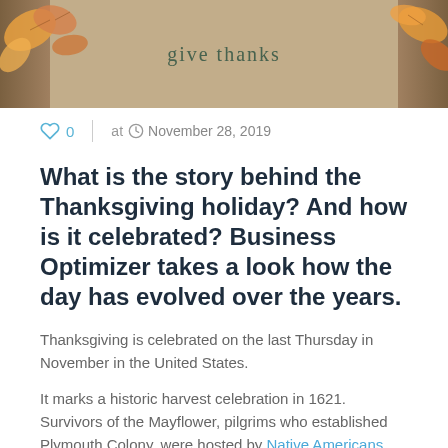[Figure (photo): Kraft paper background with hand-lettered 'give thanks' text, decorated with autumn leaves on the corners]
♡ 0  |  at  🕐  November 28, 2019
What is the story behind the Thanksgiving holiday?  And how is it celebrated?  Business Optimizer takes a look how the day has evolved over the years.
Thanksgiving is celebrated on the last Thursday in November in the United States.
It marks a historic harvest celebration in 1621. Survivors of the Mayflower, pilgrims who established Plymouth Colony, were hosted by Native Americans